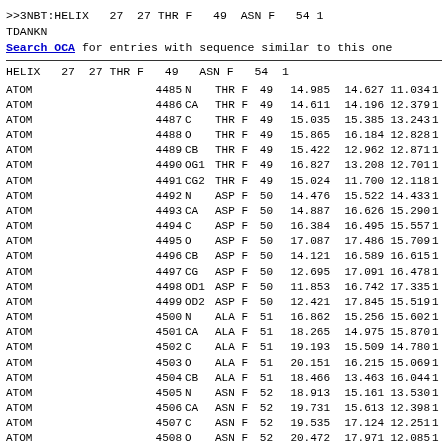>>3NBT:HELIX  27  27 THR F  49  ASN F  54 1
TDANKN
Search OCA for entries with sequence similar to this one
HELIX  27  27 THR F   49   ASN F   54  1
| ATOM | serial | name | resName | chain | resSeq | x | y | z | rest |
| --- | --- | --- | --- | --- | --- | --- | --- | --- | --- |
| ATOM | 4485 | N | THR | F | 49 | 14.985 | 14.627 | 11.034 | 1 |
| ATOM | 4486 | CA | THR | F | 49 | 14.611 | 14.196 | 12.379 | 1 |
| ATOM | 4487 | C | THR | F | 49 | 15.035 | 15.385 | 13.243 | 1 |
| ATOM | 4488 | O | THR | F | 49 | 15.865 | 16.184 | 12.828 | 1 |
| ATOM | 4489 | CB | THR | F | 49 | 15.422 | 12.962 | 12.871 | 1 |
| ATOM | 4490 | OG1 | THR | F | 49 | 16.827 | 13.208 | 12.701 | 1 |
| ATOM | 4491 | CG2 | THR | F | 49 | 15.024 | 11.700 | 12.118 | 1 |
| ATOM | 4492 | N | ASP | F | 50 | 14.476 | 15.522 | 14.433 | 1 |
| ATOM | 4493 | CA | ASP | F | 50 | 14.887 | 16.626 | 15.290 | 1 |
| ATOM | 4494 | C | ASP | F | 50 | 16.384 | 16.495 | 15.557 | 1 |
| ATOM | 4495 | O | ASP | F | 50 | 17.087 | 17.486 | 15.709 | 1 |
| ATOM | 4496 | CB | ASP | F | 50 | 14.121 | 16.589 | 16.615 | 1 |
| ATOM | 4497 | CG | ASP | F | 50 | 12.695 | 17.091 | 16.478 | 1 |
| ATOM | 4498 | OD1 | ASP | F | 50 | 11.853 | 16.742 | 17.335 | 1 |
| ATOM | 4499 | OD2 | ASP | F | 50 | 12.421 | 17.845 | 15.519 | 1 |
| ATOM | 4500 | N | ALA | F | 51 | 16.862 | 15.256 | 15.602 | 1 |
| ATOM | 4501 | CA | ALA | F | 51 | 18.265 | 14.975 | 15.870 | 1 |
| ATOM | 4502 | C | ALA | F | 51 | 19.193 | 15.509 | 14.780 | 1 |
| ATOM | 4503 | O | ALA | F | 51 | 20.151 | 16.215 | 15.069 | 1 |
| ATOM | 4504 | CB | ALA | F | 51 | 18.466 | 13.463 | 16.044 | 1 |
| ATOM | 4505 | N | ASN | F | 52 | 18.913 | 15.161 | 13.530 | 1 |
| ATOM | 4506 | CA | ASN | F | 52 | 19.731 | 15.613 | 12.398 | 1 |
| ATOM | 4507 | C | ASN | F | 52 | 19.535 | 17.124 | 12.251 | 1 |
| ATOM | 4508 | O | ASN | F | 52 | 20.472 | 17.971 | 12.085 | 1 |